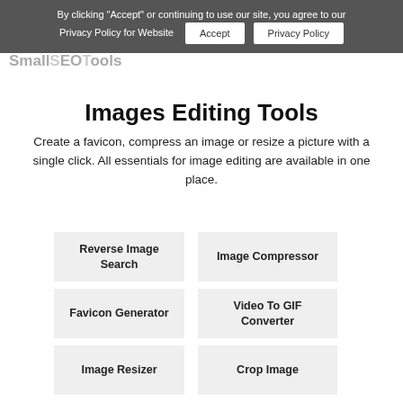By clicking "Accept" or continuing to use our site, you agree to our Privacy Policy for Website
Accept
Privacy Policy
Images Editing Tools
Create a favicon, compress an image or resize a picture with a single click. All essentials for image editing are available in one place.
Reverse Image Search
Image Compressor
Favicon Generator
Video To GIF Converter
Image Resizer
Crop Image
Convert To JPG
RGB To Hex
PNG To JPG
JPG To PNG